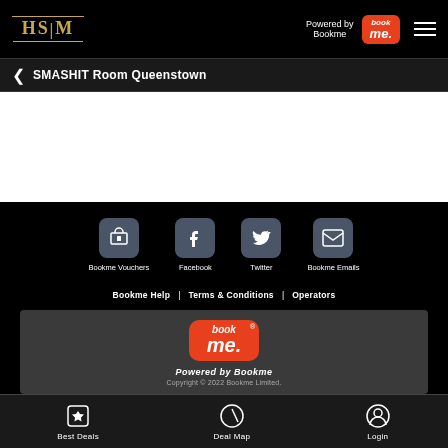HSTM - Powered by Bookme
< SMASHIT Room Queenstown
[Figure (screenshot): White content area (blank)]
[Figure (infographic): Social links: Bookme Vouchers, Facebook, Twitter, Bookme Emails icons]
Bookme Help | Terms & Conditions | Operators
[Figure (logo): Bookme logo with Powered by Bookme and copyright]
Best Deals  Deal Map  Login